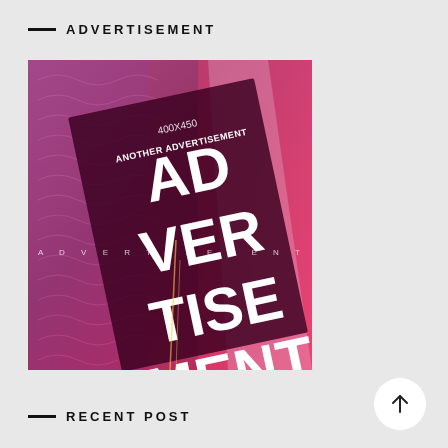ADVERTISEMENT
[Figure (illustration): Advertisement placeholder image with red abstract background, featuring text '400X450', 'ANOTHER ADVERTISEMENT', and large bold white text reading 'ADVERTISEMENT' on a rotated dark overlay, with 'ADVERTISEMENT' spelled out horizontally across the middle.]
RECENT POST